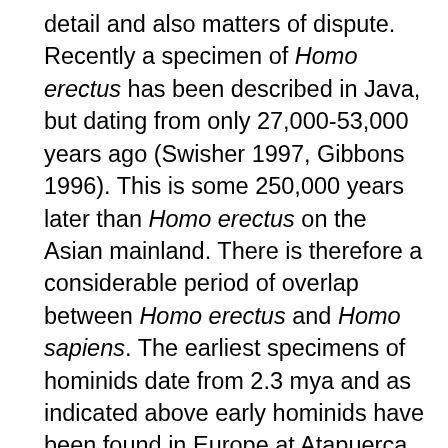detail and also matters of dispute. Recently a specimen of Homo erectus has been described in Java, but dating from only 27,000-53,000 years ago (Swisher 1997, Gibbons 1996). This is some 250,000 years later than Homo erectus on the Asian mainland. There is therefore a considerable period of overlap between Homo erectus and Homo sapiens. The earliest specimens of hominids date from 2.3 mya and as indicated above early hominids have been found in Europe at Atapuerca in Spain at 780,000 years ago (Gutin 1995, Bermudex de Castro 1997). The discovery of hunting spears in lower Paloelithic sites in Germany at around 400,000 years also raises the issue of